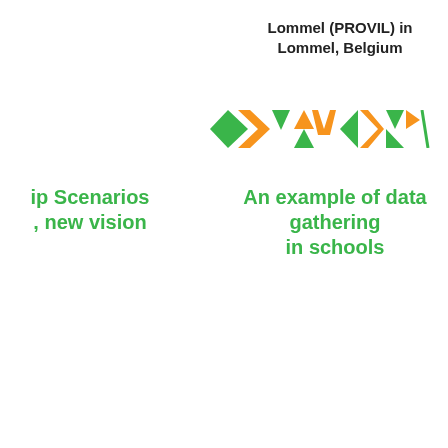Lommel (PROVIL) in Lommel, Belgium
[Figure (logo): Decorative row of green and orange triangle/arrow shapes forming a logo or divider pattern]
ip Scenarios , new vision
An example of data gathering in schools